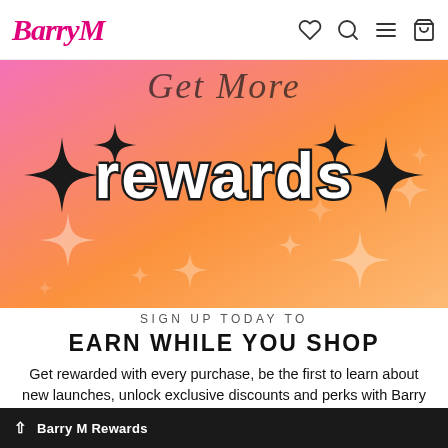Barry M — navigation bar with logo, heart, search, menu, and bag icons
[Figure (illustration): Pink-to-orange gradient hero banner with sparkle star decorations, cursive 'Get More' text and large bold white 'rewards' text with dark outline, flanked by large 4-pointed stars]
SIGN UP TODAY TO
EARN WHILE YOU SHOP
Get rewarded with every purchase, be the first to learn about new launches, unlock exclusive discounts and perks with Barry M Rewards!
Barry M Rewards